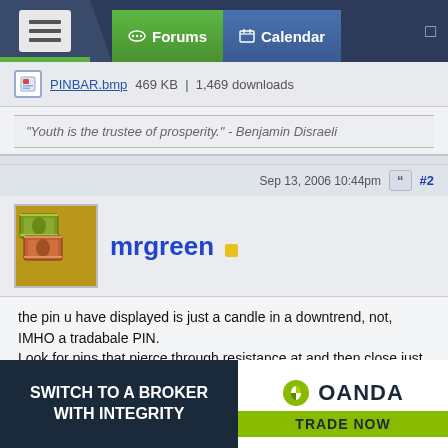Forums | Calendar
PINBAR.bmp   469 KB  |  1,469 downloads
"Youth is the trustee of prosperity." - Benjamin Disraeli
Sep 13, 2006 10:44pm   #2
mrgreen
the pin u have displayed is just a candle in a downtrend, not, IMHO a tradabale PIN.
Look for pins that pierce through resistance at and then close just below resistance. This way your risk to reward ratio is worth taking.
It is not the shape of the candle but where it is in relation to the rest of the chart that matters.

Benjamin Disraili also said "Lies, Damned Lies, and Statistics" - PINS work better statistically when they have occured at support or resistance.
[Figure (screenshot): OANDA broker advertisement banner: 'Switch to a Broker with Integrity' with OANDA logo and 'Trade Now' button]